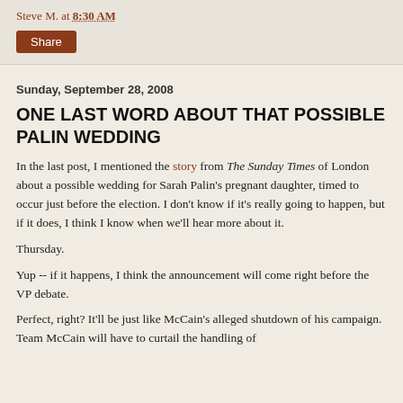Steve M. at 8:30 AM
Sunday, September 28, 2008
ONE LAST WORD ABOUT THAT POSSIBLE PALIN WEDDING
In the last post, I mentioned the story from The Sunday Times of London about a possible wedding for Sarah Palin's pregnant daughter, timed to occur just before the election. I don't know if it's really going to happen, but if it does, I think I know when we'll hear more about it.
Thursday.
Yup -- if it happens, I think the announcement will come right before the VP debate.
Perfect, right? It'll be just like McCain's alleged shutdown of his campaign. Team McCain will have to curtail the handling of...